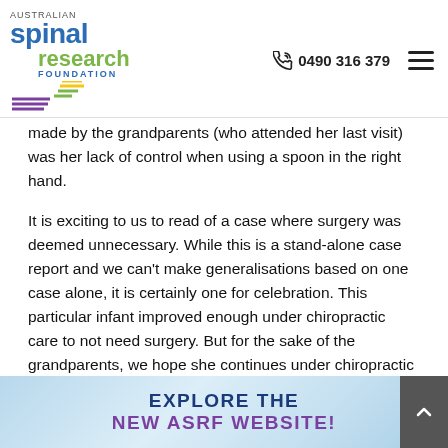Australian Spinal Research Foundation | 0490 316 379
made by the grandparents (who attended her last visit) was her lack of control when using a spoon in the right hand.
It is exciting to us to read of a case where surgery was deemed unnecessary. While this is a stand-alone case report and we can’t make generalisations based on one case alone, it is certainly one for celebration. This particular infant improved enough under chiropractic care to not need surgery. But for the sake of the grandparents, we hope she continues under chiropractic care so the spoon issue gets solved too.
[Figure (infographic): Banner image with light blue background and text: EXPLORE THE NEW ASRF WEBSITE!]